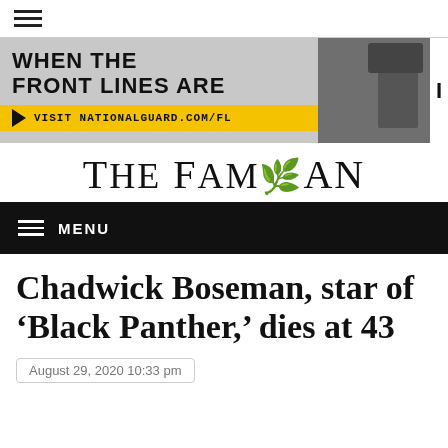[Figure (screenshot): Hamburger menu icon (three horizontal lines) at top left of page]
[Figure (photo): National Guard advertisement banner: 'WHEN THE FRONT LINES ARE' with military imagery and text 'VISIT NATIONALGUARD.COM/FL']
THE FAMUAN
MENU
Chadwick Boseman, star of 'Black Panther,' dies at 43
August 29, 2020 10:33 pm